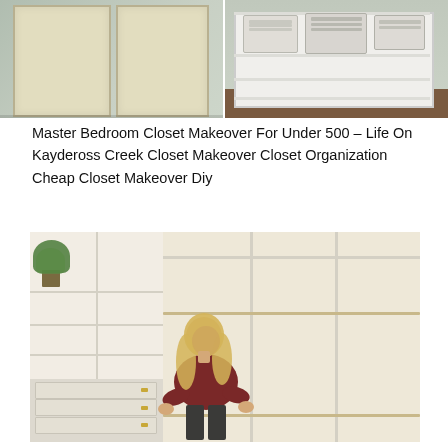[Figure (photo): Two side-by-side photos: left shows a closet with light-colored cabinet doors in muted blue/grey room; right shows white built-in shelving unit with laundry baskets on top shelf]
Master Bedroom Closet Makeover For Under 500 – Life On Kaydeross Creek Closet Makeover Closet Organization Cheap Closet Makeover Diy
[Figure (photo): Woman with long blonde hair wearing maroon top bending forward inside a large white custom built-in closet with shelving units, drawers with gold knobs, hanging rods, and a green plant in the corner]